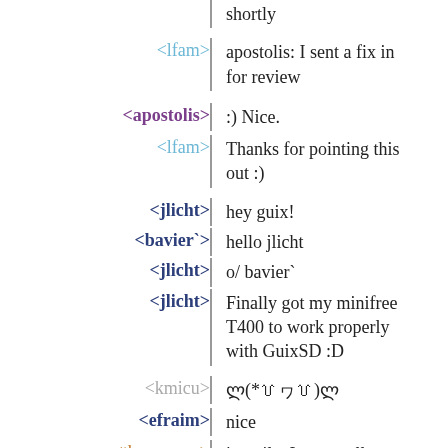shortly
<lfam> apostolis: I sent a fix in for review
<apostolis> :) Nice.
<lfam> Thanks for pointing this out :)
<jlicht> hey guix!
<bavier`> hello jlicht
<jlicht> o/ bavier`
<jlicht> Finally got my minifree T400 to work properly with GuixSD :D
<kmicu> ლ(*꒦ヮ꒦)ლ
<efraim> nice
<thomassgn> in guile, I want call-with-output-file but if